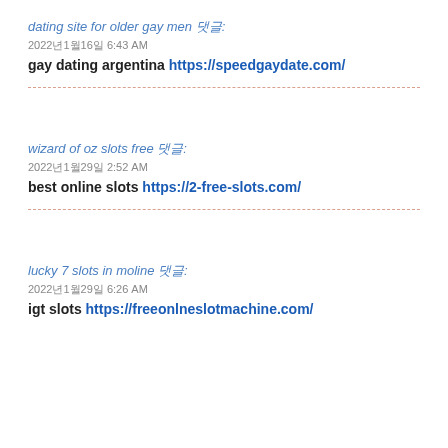dating site for older gay men 댓글:
2022년1월16일 6:43 AM
gay dating argentina https://speedgaydate.com/
wizard of oz slots free 댓글:
2022년1월29일 2:52 AM
best online slots https://2-free-slots.com/
lucky 7 slots in moline 댓글:
2022년1월29일 6:26 AM
igt slots https://freeonlneslotmachine.com/